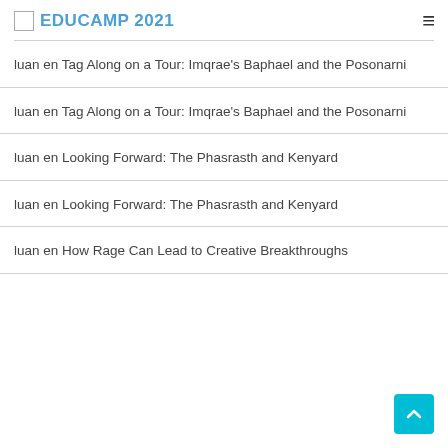EDUCAMP 2021
luan en Tag Along on a Tour: Imqrae's Baphael and the Posonarni
luan en Tag Along on a Tour: Imqrae's Baphael and the Posonarni
luan en Looking Forward: The Phasrasth and Kenyard
luan en Looking Forward: The Phasrasth and Kenyard
luan en How Rage Can Lead to Creative Breakthroughs